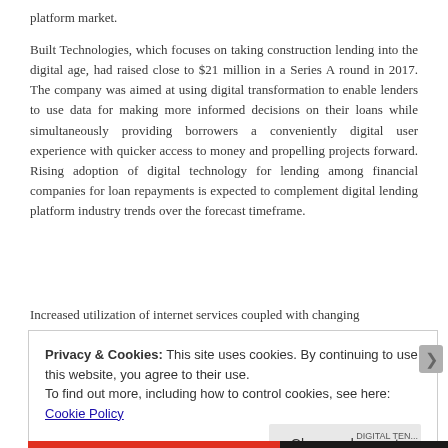platform market.
Built Technologies, which focuses on taking construction lending into the digital age, had raised close to $21 million in a Series A round in 2017. The company was aimed at using digital transformation to enable lenders to use data for making more informed decisions on their loans while simultaneously providing borrowers a conveniently digital user experience with quicker access to money and propelling projects forward. Rising adoption of digital technology for lending among financial companies for loan repayments is expected to complement digital lending platform industry trends over the forecast timeframe.
Increased utilization of internet services coupled with changing
Privacy & Cookies: This site uses cookies. By continuing to use this website, you agree to their use.
To find out more, including how to control cookies, see here: Cookie Policy